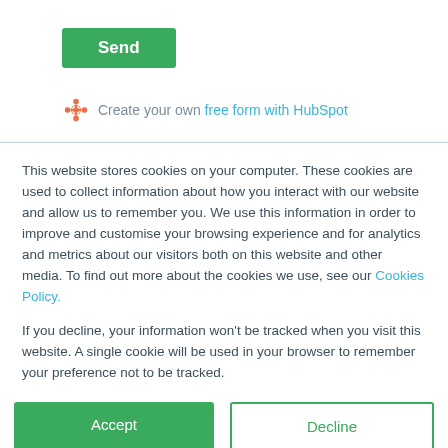[Figure (other): Green Send button]
Create your own free form with HubSpot
This website stores cookies on your computer. These cookies are used to collect information about how you interact with our website and allow us to remember you. We use this information in order to improve and customise your browsing experience and for analytics and metrics about our visitors both on this website and other media. To find out more about the cookies we use, see our Cookies Policy.
If you decline, your information won't be tracked when you visit this website. A single cookie will be used in your browser to remember your preference not to be tracked.
[Figure (other): Accept and Decline buttons]